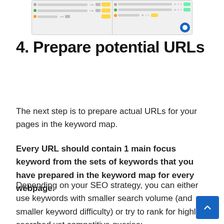[Figure (screenshot): Screenshot of a keyword mapping tool showing two panels with rows of keywords, search volume numbers, difficulty scores, and yellow/green tags.]
4. Prepare potential URLs
The next step is to prepare actual URLs for your pages in the keyword map.
Every URL should contain 1 main focus keyword from the sets of keywords that you have prepared in the keyword map for every webpage.
Depending on your SEO strategy, you can either use keywords with smaller search volume (and smaller keyword difficulty) or try to rank for highly searched yet competitive queries: